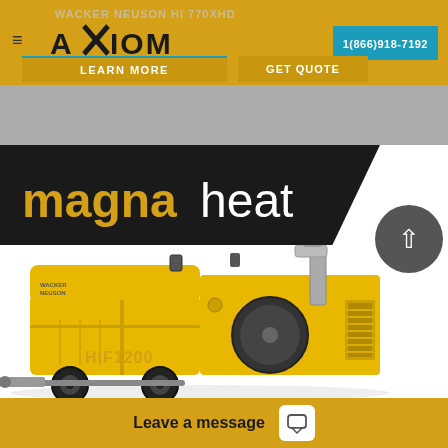WACKER NEUSON HI 770XHD
[Figure (logo): AXIOM Equipment Group logo]
1(866)918-7192
LEARN MORE
GET QUOTE
[Figure (logo): magnaheat logo on dark background banner]
[Figure (photo): Wacker Neuson HIF1200 yellow industrial heater on wheels with exhaust stack]
Leave a message